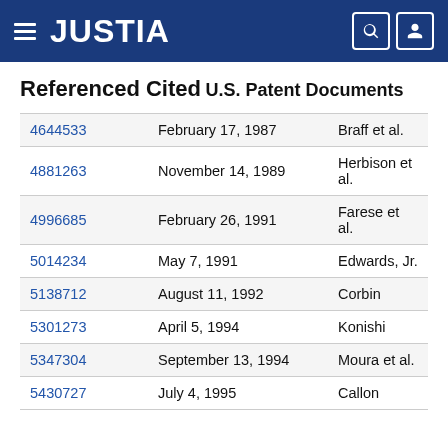JUSTIA
Referenced Cited
U.S. Patent Documents
| Patent No. | Date | Inventor |
| --- | --- | --- |
| 4644533 | February 17, 1987 | Braff et al. |
| 4881263 | November 14, 1989 | Herbison et al. |
| 4996685 | February 26, 1991 | Farese et al. |
| 5014234 | May 7, 1991 | Edwards, Jr. |
| 5138712 | August 11, 1992 | Corbin |
| 5301273 | April 5, 1994 | Konishi |
| 5347304 | September 13, 1994 | Moura et al. |
| 5430727 | July 4, 1995 | Callon |